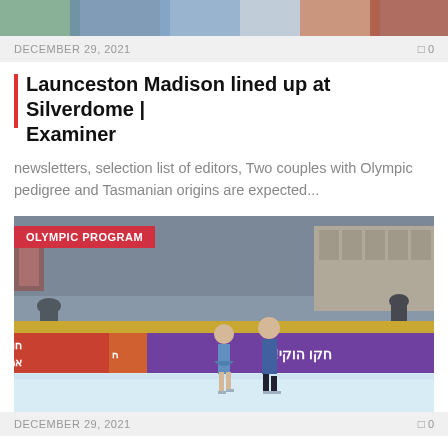[Figure (photo): Top portion of a sports/action photo, partially cropped at the top of the page]
DECEMBER 29, 2021
0
Launceston Madison lined up at Silverdome | Examiner
newsletters, selection list of editors, Two couples with Olympic pedigree and Tasmanian origins are expected...
[Figure (photo): Two figure skaters (a woman in blue dress and a man in dark clothing) performing pairs skating on an ice rink. Hebrew advertisement banners visible in background. Red overlay tag reads OLYMPIC PROGRAM.]
DECEMBER 29, 2021
0